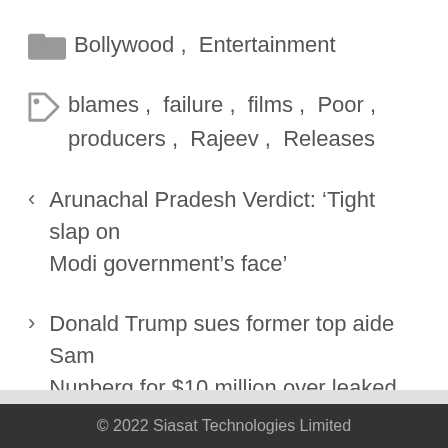Bollywood , Entertainment
blames , failure , films , Poor , producers , Rajeev , Releases
Arunachal Pradesh Verdict: 'Tight slap on Modi government's face'
Donald Trump sues former top aide Sam Nunberg for $10 million over leaked information
© 2022 Siasat Technologies Limited